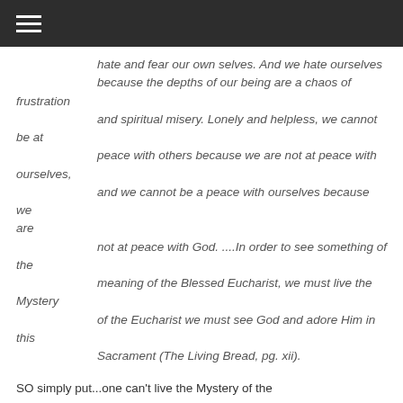☰ (navigation menu icon)
hate and fear our own selves.  And we hate ourselves because the depths of our being are a chaos of frustration and spiritual misery.  Lonely and helpless, we cannot be at peace with others because we are not at peace with ourselves, and we cannot be a peace with ourselves because we are not at peace with God. ....In order to see something of the meaning of the Blessed Eucharist, we must live the Mystery of the Eucharist we must see God and adore Him in this Sacrament (The Living Bread, pg. xii).
SO simply put...one can't live the Mystery of the Eucharist, see God and adore Him in this Sacrament if one